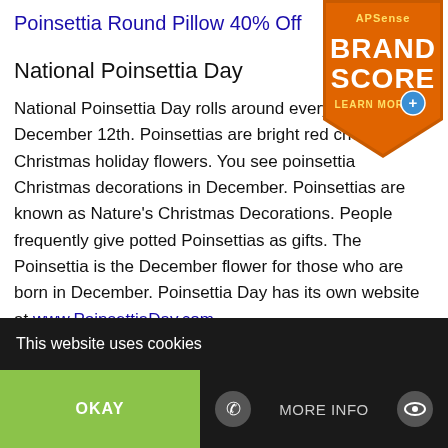Poinsettia Round Pillow 40% Off
[Figure (logo): APSense Brand Score badge - orange shield shape with text APSense BRAND SCORE LEARN MORE and a blue plus icon]
National Poinsettia Day
National Poinsettia Day rolls around every year on December 12th. Poinsettias are bright red cheerful Christmas holiday flowers. You see poinsettia Christmas decorations in December. Poinsettias are known as Nature's Christmas Decorations. People frequently give potted Poinsettias as gifts. The Poinsettia is the December flower for those who are born in December. Poinsettia Day has its own website at www.PoinsettiaDay.com.
Poinsettia Day
www.PoinsettiaDay.com
This website uses cookies
OKAY
MORE INFO